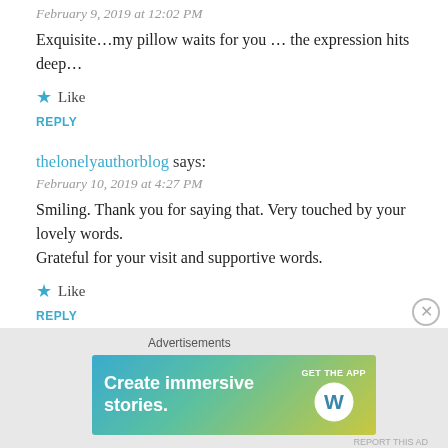February 9, 2019 at 12:02 PM
Exquisite…my pillow waits for you … the expression hits deep…
Like
REPLY
thelonelyauthorblog says:
February 10, 2019 at 4:27 PM
Smiling. Thank you for saying that. Very touched by your lovely words.
Grateful for your visit and supportive words.
Like
REPLY
[Figure (screenshot): WordPress advertisement banner: 'Create immersive stories. GET THE APP' with WordPress logo, on a teal-to-yellow gradient background. Labeled 'Advertisements' above.]